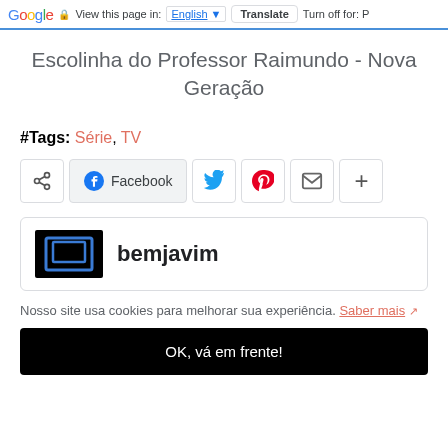Google  View this page in: English  Translate  Turn off for: P
Escolinha do Professor Raimundo - Nova Geração
#Tags: Série, TV
[Figure (infographic): Social share buttons: share icon, Facebook, Twitter (bird), Pinterest (P), email, plus]
[Figure (logo): bemjavim logo - black rectangle with blue monitor/TV icon, bold text 'bemjavim']
Nosso site usa cookies para melhorar sua experiência. Saber mais ↗
OK, vá em frente!